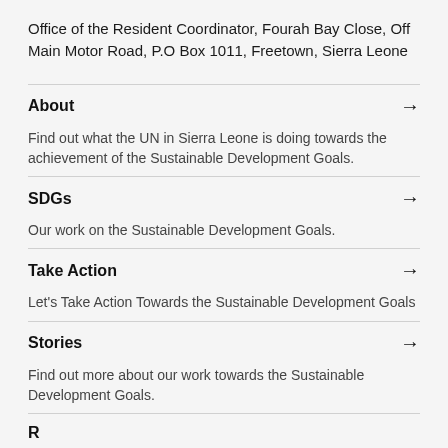Office of the Resident Coordinator, Fourah Bay Close, Off Main Motor Road, P.O Box 1011, Freetown, Sierra Leone
About
Find out what the UN in Sierra Leone is doing towards the achievement of the Sustainable Development Goals.
SDGs
Our work on the Sustainable Development Goals.
Take Action
Let's Take Action Towards the Sustainable Development Goals
Stories
Find out more about our work towards the Sustainable Development Goals.
R